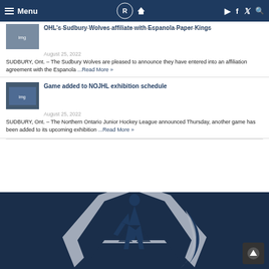Menu | NOJHL Logo | Home | YouTube | Facebook | Twitter | Search
OHL's Sudbury Wolves affiliate with Espanola Paper Kings
August 25, 2022
SUDBURY, Ont. – The Sudbury Wolves are pleased to announce they have entered into an affiliation agreement with the Espanola ...Read More »
Game added to NOJHL exhibition schedule
August 25, 2022
SUDBURY, Ont. – The Northern Ontario Junior Hockey League announced Thursday, another game has been added to its upcoming exhibition ...Read More »
[Figure (logo): NOJHL logo — large hockey player silhouette with stylized letter A/P and pine trees, in navy blue and grey, on dark navy background]